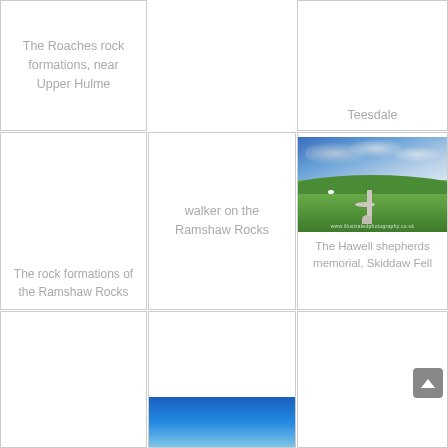[Figure (photo): Card with text label for The Roaches rock formations near Upper Hulme - placeholder with grey text]
The Roaches rock formations, near Upper Hulme
[Figure (photo): Empty middle cell top row]
[Figure (photo): Partial card showing top of Teesdale text]
Teesdale
[Figure (photo): Card with image placeholder for The rock formations of the Ramshaw Rocks]
The rock formations of the Ramshaw Rocks
[Figure (photo): Card showing walker on the Ramshaw Rocks text placeholder]
walker on the Ramshaw Rocks
[Figure (photo): Photo of The Hawell shepherds memorial cross on Skiddaw Fell with green hills and dramatic cloudy sky]
The Hawell shepherds memorial, Skiddaw Fell
[Figure (photo): Empty card bottom left row]
[Figure (photo): Partial blue sky landscape photo bottom centre]
[Figure (photo): Empty card bottom right row]